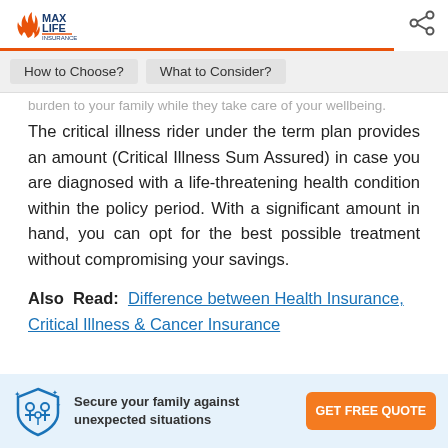Max Life Insurance
How to Choose?   What to Consider?
burden to your family while they take care of your wellbeing.
The critical illness rider under the term plan provides an amount (Critical Illness Sum Assured) in case you are diagnosed with a life-threatening health condition within the policy period. With a significant amount in hand, you can opt for the best possible treatment without compromising your savings.
Also Read: Difference between Health Insurance, Critical Illness & Cancer Insurance
Secure your family against unexpected situations